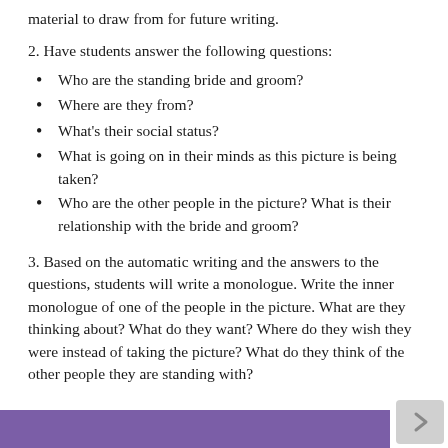material to draw from for future writing.
2. Have students answer the following questions:
Who are the standing bride and groom?
Where are they from?
What's their social status?
What is going on in their minds as this picture is being taken?
Who are the other people in the picture? What is their relationship with the bride and groom?
3. Based on the automatic writing and the answers to the questions, students will write a monologue. Write the inner monologue of one of the people in the picture. What are they thinking about? What do they want? Where do they wish they were instead of taking the picture? What do they think of the other people they are standing with?